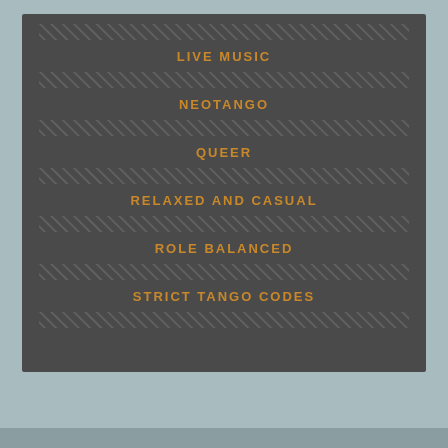LIVE MUSIC
NEOTANGO
QUEER
RELAXED AND CASUAL
ROLE BALANCED
STRICT TANGO CODES